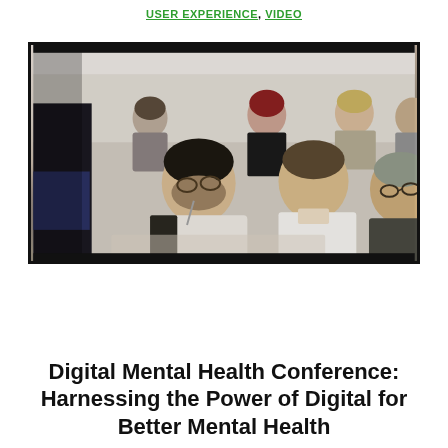USER EXPERIENCE, VIDEO
[Figure (photo): Conference audience photo showing multiple people seated, attentive, in a meeting room setting. Several people in foreground and background, including a man in a white shirt prominently visible.]
Digital Mental Health Conference: Harnessing the Power of Digital for Better Mental Health